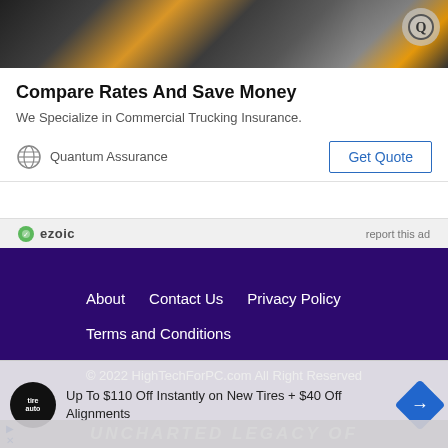[Figure (photo): Photo strip showing people in a vehicle with orange/yellow background, Quantum Assurance logo icon top right]
Compare Rates And Save Money
We Specialize in Commercial Trucking Insurance.
Quantum Assurance   Get Quote
ezoic   report this ad
About   Contact Us   Privacy Policy
Terms and Conditions
© 2022 HighTechForPC.com All Right Reserved
No compatible source was found for this media.
Up To $110 Off Instantly on New Tires + $40 Off Alignments
UNCHARTED LEGACY OF